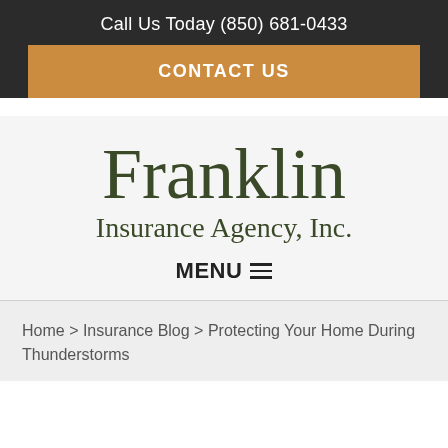Call Us Today (850) 681-0433
CONTACT US
[Figure (logo): Franklin Insurance Agency, Inc. logo with large serif text 'Franklin' and smaller serif text 'Insurance Agency, Inc.']
MENU
Home > Insurance Blog > Protecting Your Home During Thunderstorms